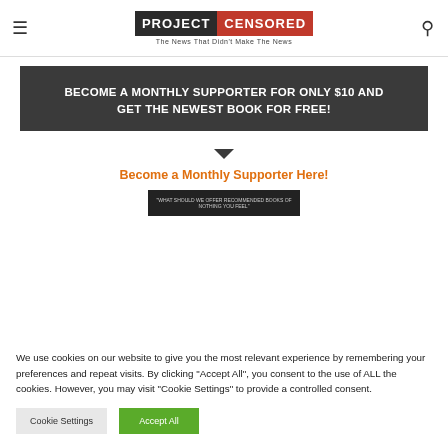PROJECT CENSORED — The News That Didn't Make The News
BECOME A MONTHLY SUPPORTER FOR ONLY $10 AND GET THE NEWEST BOOK FOR FREE!
Become a Monthly Supporter Here!
[Figure (photo): Book cover image for Project Censored]
We use cookies on our website to give you the most relevant experience by remembering your preferences and repeat visits. By clicking "Accept All", you consent to the use of ALL the cookies. However, you may visit "Cookie Settings" to provide a controlled consent.